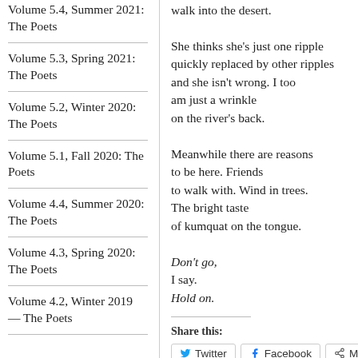Volume 5.4, Summer 2021: The Poets
Volume 5.3, Spring 2021: The Poets
Volume 5.2, Winter 2020: The Poets
Volume 5.1, Fall 2020: The Poets
Volume 4.4, Summer 2020: The Poets
Volume 4.3, Spring 2020: The Poets
Volume 4.2, Winter 2019 — The Poets
walk into the desert.

She thinks she's just one ripple
quickly replaced by other ripples
and she isn't wrong. I too
am just a wrinkle
on the river's back.

Meanwhile there are reasons
to be here. Friends
to walk with. Wind in trees.
The bright taste
of kumquat on the tongue.

Don't go,
I say.
Hold on.
Share this:
Twitter   Facebook   More
Loading...